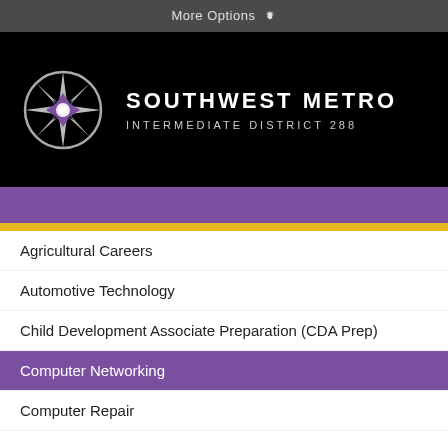More Options ⚙
[Figure (logo): Southwest Metro Intermediate District 288 logo with compass star design in gray and purple on black background]
Agricultural Careers
Automotive Technology
Child Development Associate Preparation (CDA Prep)
Computer Networking
Computer Repair